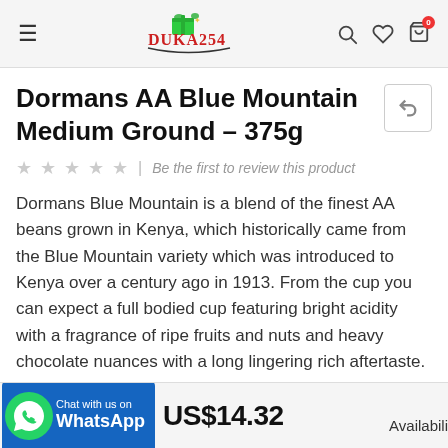DUKA254 navigation header with logo, search, wishlist, and cart icons
Dormans AA Blue Mountain Medium Ground – 375g
★★★★★  |  Be the first to review this product
Dormans Blue Mountain is a blend of the finest AA beans grown in Kenya, which historically came from the Blue Mountain variety which was introduced to Kenya over a century ago in 1913. From the cup you can expect a full bodied cup featuring bright acidity with a fragrance of ripe fruits and nuts and heavy chocolate nuances with a long lingering rich aftertaste.
Chat with us on WhatsApp  US$14.32  Availabili